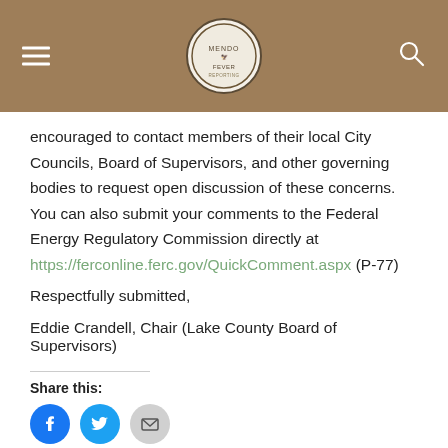[Figure (logo): MendoFever reporting logo in a circular badge, centered in a brown/tan navigation bar with hamburger menu on the left and search icon on the right]
encouraged to contact members of their local City Councils, Board of Supervisors, and other governing bodies to request open discussion of these concerns. You can also submit your comments to the Federal Energy Regulatory Commission directly at https://ferconline.ferc.gov/QuickComment.aspx (P-77)
Respectfully submitted,
Eddie Crandell, Chair (Lake County Board of Supervisors)
Share this:
[Figure (other): Social sharing buttons: Facebook (blue circle), Twitter (blue circle), Email (gray circle)]